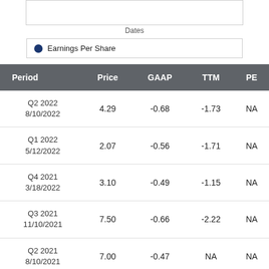[Figure (other): Partial chart area placeholder at top of page]
Dates
[Figure (other): Legend box showing a blue dot and label 'Earnings Per Share']
| Period | Price | GAAP | TTM | PE |
| --- | --- | --- | --- | --- |
| Q2 2022
8/10/2022 | 4.29 | -0.68 | -1.73 | NA |
| Q1 2022
5/12/2022 | 2.07 | -0.56 | -1.71 | NA |
| Q4 2021
3/18/2022 | 3.10 | -0.49 | -1.15 | NA |
| Q3 2021
11/10/2021 | 7.50 | -0.66 | -2.22 | NA |
| Q2 2021
8/10/2021 | 7.00 | -0.47 | NA | NA |